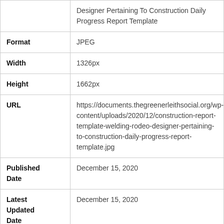|  | Designer Pertaining To Construction Daily Progress Report Template |
| Format | JPEG |
| Width | 1326px |
| Height | 1662px |
| URL | https://documents.thegreenerleithsocial.org/wp-content/uploads/2020/12/construction-report-template-welding-rodeo-designer-pertaining-to-construction-daily-progress-report-template.jpg |
| Published Date | December 15, 2020 |
| Latest Updated Date | December 15, 2020 |